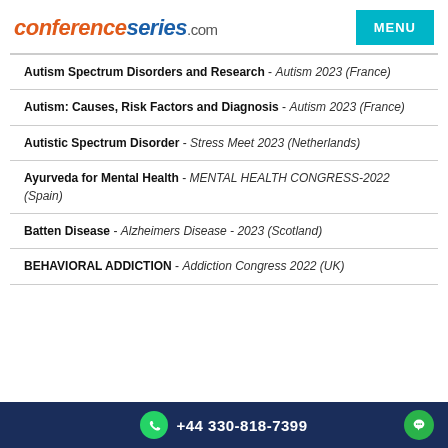conferenceseries.com MENU
Autism Spectrum Disorders and Research - Autism 2023 (France)
Autism: Causes, Risk Factors and Diagnosis - Autism 2023 (France)
Autistic Spectrum Disorder - Stress Meet 2023 (Netherlands)
Ayurveda for Mental Health - MENTAL HEALTH CONGRESS-2022 (Spain)
Batten Disease - Alzheimers Disease - 2023 (Scotland)
BEHAVIORAL ADDICTION - Addiction Congress 2022 (UK)
+44 330-818-7399